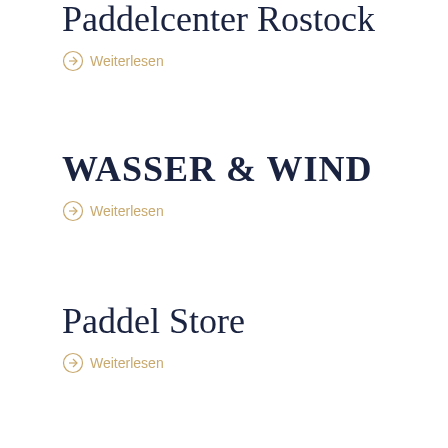Paddelcenter Rostock
Weiterlesen
WASSER & WIND
Weiterlesen
Paddel Store
Weiterlesen